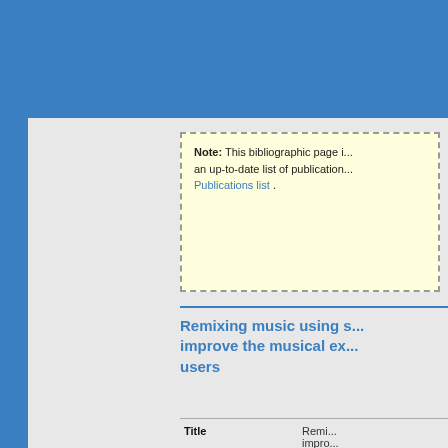Note: This bibliographic page is not maintained regularly. For an up-to-date list of publications please visit the Publications list.
Remixing music using s... improve the musical ex... users
|  |  |
| --- | --- |
| Title | Remi... impro... users |
| Publication Type | Journ... |
| Year of Publication | 2016 |